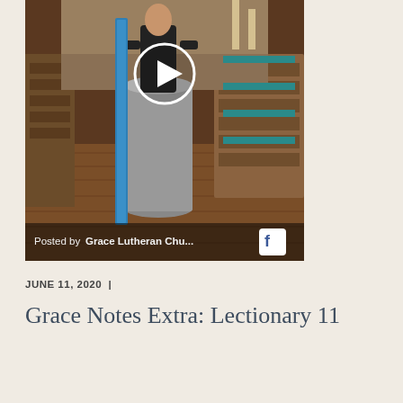[Figure (screenshot): A video thumbnail showing a church interior. A person stands at a pulpit/lectern with blue fabric stoles/decorations. A play button circle is visible at the top center. The bottom bar shows 'Posted by Grace Lutheran Chu...' with a Facebook icon on the right.]
JUNE 11, 2020 |
Grace Notes Extra: Lectionary 11